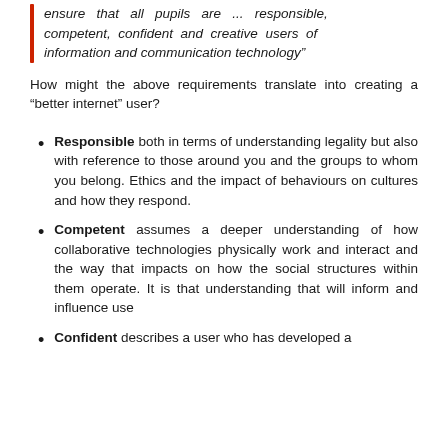ensure that all pupils are ... responsible, competent, confident and creative users of information and communication technology"
How might the above requirements translate into creating a “better internet” user?
Responsible both in terms of understanding legality but also with reference to those around you and the groups to whom you belong. Ethics and the impact of behaviours on cultures and how they respond.
Competent assumes a deeper understanding of how collaborative technologies physically work and interact and the way that impacts on how the social structures within them operate. It is that understanding that will inform and influence use
Confident describes a user who has developed a